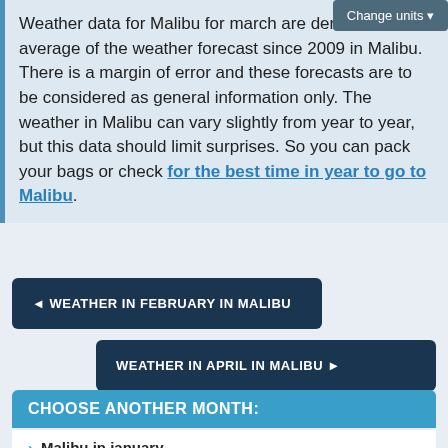Weather data for Malibu for march are derived from an average of the weather forecast since 2009 in Malibu. There is a margin of error and these forecasts are to be considered as general information only. The weather in Malibu can vary slightly from year to year, but this data should limit surprises. So you can pack your bags or check for the best time in year to go to Malibu.
Change units
◄ WEATHER IN FEBRUARY IN MALIBU
WEATHER IN APRIL IN MALIBU ►
CHOOSE ANOTHER MONTH:
> Malibu in january